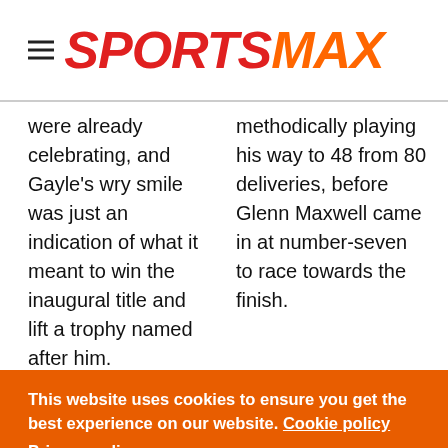SPORTSMAX
were already celebrating, and Gayle's wry smile was just an indication of what it meant to win the inaugural title and lift a trophy named after him.
methodically playing his way to 48 from 80 deliveries, before Glenn Maxwell came in at number-seven to race towards the finish.
This website uses cookies to ensure you get the best experience on our website. Cookie policy
Privacy policy
Decline
Allow cookies